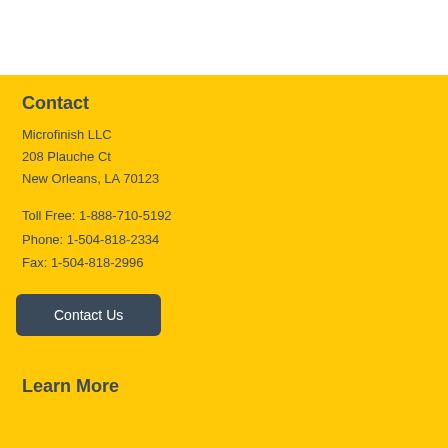Contact
Microfinish LLC
208 Plauche Ct
New Orleans, LA 70123
Toll Free: 1-888-710-5192
Phone: 1-504-818-2334
Fax: 1-504-818-2996
Contact Us
Learn More